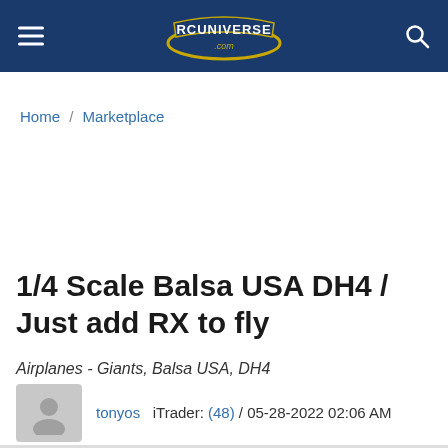RC Universe .com
Home / Marketplace
1/4 Scale Balsa USA DH4 / Just add RX to fly
Airplanes - Giants, Balsa USA, DH4
tonyos   iTrader: (48) / 05-28-2022 02:06 AM